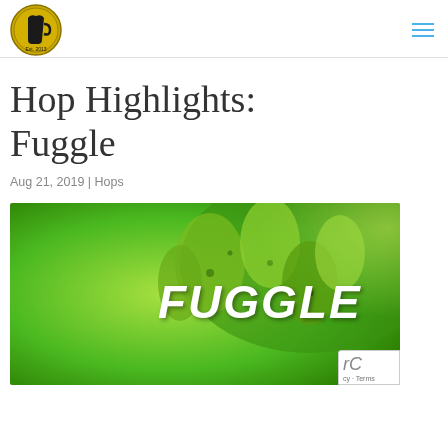[Logo] Hop Highlights site logo | [hamburger menu icon]
Hop Highlights: Fuggle
Aug 21, 2019 | Hops
[Figure (photo): Close-up photo of green hop cones with bold italic white text 'FUGGLE' overlaid in the center]